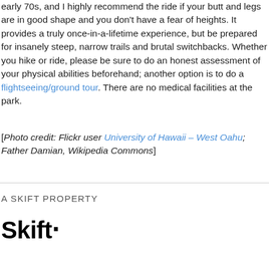early 70s, and I highly recommend the ride if your butt and legs are in good shape and you don't have a fear of heights. It provides a truly once-in-a-lifetime experience, but be prepared for insanely steep, narrow trails and brutal switchbacks. Whether you hike or ride, please be sure to do an honest assessment of your physical abilities beforehand; another option is to do a flightseeing/ground tour. There are no medical facilities at the park.
[Photo credit: Flickr user University of Hawaii – West Oahu; Father Damian, Wikipedia Commons]
A SKIFT PROPERTY
[Figure (logo): Skift logo in bold black text with a period]